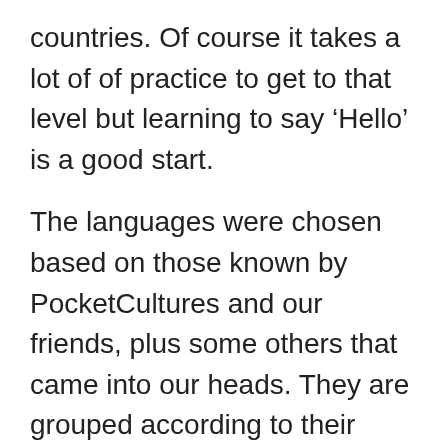countries. Of course it takes a lot of of practice to get to that level but learning to say ‘Hello’ is a good start.
The languages were chosen based on those known by PocketCultures and our friends, plus some others that came into our heads. They are grouped according to their language families. Obviously the main drawback of this list is that it only has 20 languages, so if yours isn’t there please tell us about it in the comments!
Indo-European Languages
This diverse and widespread language group includes most European languages as well as some from further East.